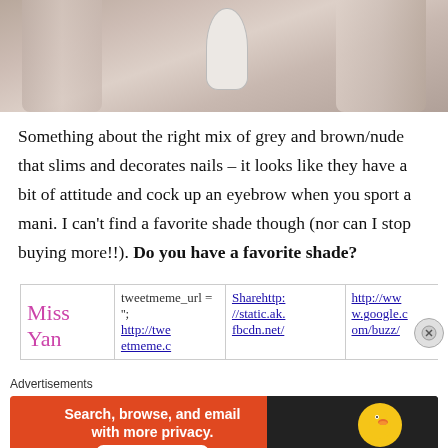[Figure (photo): Photo of nail polish bottles in grey/nude/brown shades from above]
Something about the right mix of grey and brown/nude that slims and decorates nails – it looks like they have a bit of attitude and cock up an eyebrow when you sport a mani. I can't find a favorite shade though (nor can I stop buying more!!). Do you have a favorite shade?
| Miss Yan (signature) | tweetmeme_url = '';
http://twe etmeme.c | Sharehttp://static.ak.fbcdn.net/ | http://ww w.google.c om/buzz/ |
Advertisements
[Figure (screenshot): DuckDuckGo advertisement banner: Search, browse, and email with more privacy. All in One Free App]